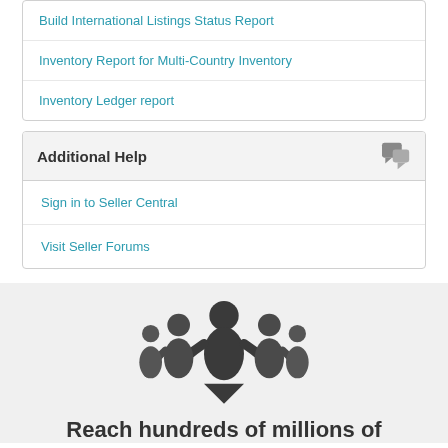Build International Listings Status Report
Inventory Report for Multi-Country Inventory
Inventory Ledger report
Additional Help
Sign in to Seller Central
Visit Seller Forums
[Figure (illustration): Group of people silhouette icon representing community or sellers]
Reach hundreds of millions of